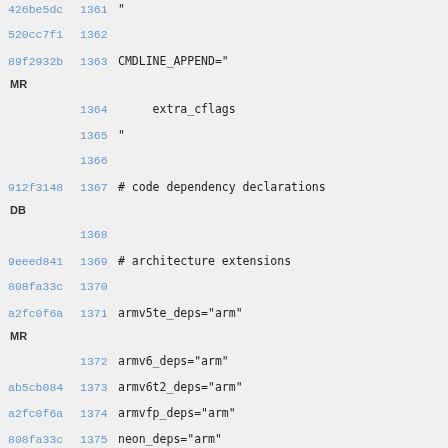426be5dc 1361 "
520cc7f1 1362
89f2932b 1363 CMDLINE_APPEND="
MR
 1364     extra_cflags
 1365 "
 1366
912f3148 1367 # code dependency declarations
DB
 1368
9eeed841 1369 # architecture extensions
808fa33c 1370
a2fc0f6a 1371 armv5te_deps="arm"
MR
 1372 armv6_deps="arm"
ab5cb084 1373 armv6t2_deps="arm"
a2fc0f6a 1374 armvfp_deps="arm"
808fa33c 1375 neon_deps="arm"